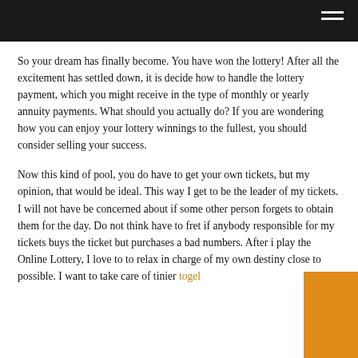So your dream has finally become. You have won the lottery! After all the excitement has settled down, it is decide how to handle the lottery payment, which you might receive in the type of monthly or yearly annuity payments. What should you actually do? If you are wondering how you can enjoy your lottery winnings to the fullest, you should consider selling your success.
Now this kind of pool, you do have to get your own tickets, but my opinion, that would be ideal. This way I get to be the leader of my tickets. I will not have be concerned about if some other person forgets to obtain them for the day. Do not think have to fret if anybody responsible for my tickets buys the ticket but purchases a bad numbers. After i play the Online Lottery, I love to to relax in charge of my own destiny close to possible. I want to take care of tinier togel